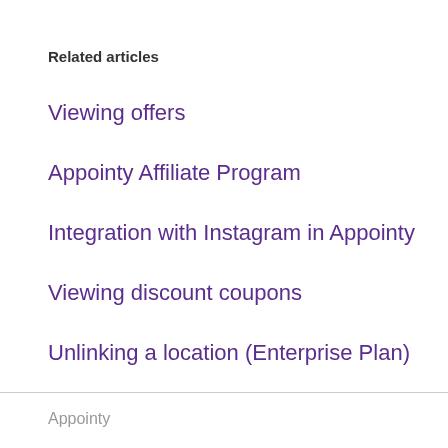Related articles
Viewing offers
Appointy Affiliate Program
Integration with Instagram in Appointy
Viewing discount coupons
Unlinking a location (Enterprise Plan)
Appointy